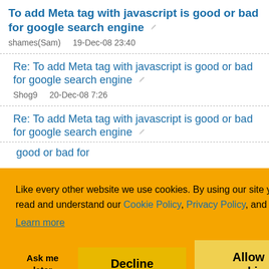To add Meta tag with javascript is good or bad for google search engine
shames(Sam)   19-Dec-08 23:40
Re: To add Meta tag with javascript is good or bad for google search engine
Shog9   20-Dec-08 7:26
Re: To add Meta tag with javascript is good or bad for google search engine
Re: To add Meta tag with javascript is good or bad for
Like every other website we use cookies. By using our site you acknowledge that you have read and understand our Cookie Policy, Privacy Policy, and our Terms of Service.
Learn more
Ask me later   Decline   Allow cookies
392  393  Next ▷